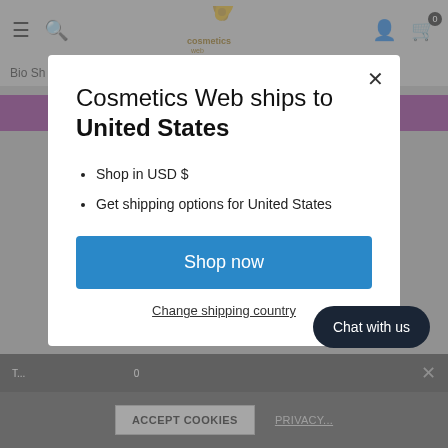[Figure (screenshot): Cosmetics Web website header with hamburger menu, search icon, logo, user icon, and cart icon with badge 0]
Bio Sh...
Fac...
Cosmetics Web ships to United States
Shop in USD $
Get shipping options for United States
Shop now
Change shipping country
Chat with us
ACCEPT COOKIES
PRIVACY...